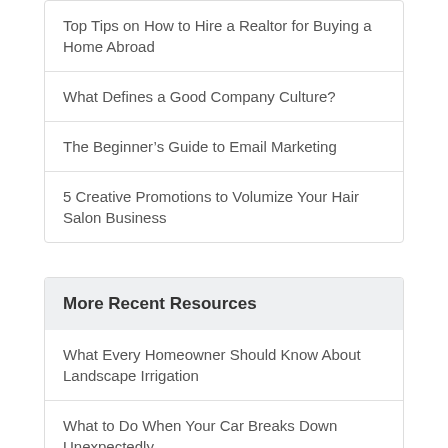Top Tips on How to Hire a Realtor for Buying a Home Abroad
What Defines a Good Company Culture?
The Beginner’s Guide to Email Marketing
5 Creative Promotions to Volumize Your Hair Salon Business
More Recent Resources
What Every Homeowner Should Know About Landscape Irrigation
What to Do When Your Car Breaks Down Unexpectedly
4 Awesome Reasons to Wrap a Car